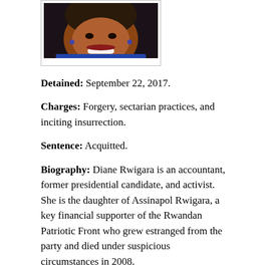[Figure (photo): Portrait photo of Diane Rwigara, cropped to show face and shoulders, smiling, wearing blue clothing, with earrings.]
Detained: September 22, 2017.
Charges: Forgery, sectarian practices, and inciting insurrection.
Sentence: Acquitted.
Biography: Diane Rwigara is an accountant, former presidential candidate, and activist. She is the daughter of Assinapol Rwigara, a key financial supporter of the Rwandan Patriotic Front who grew estranged from the party and died under suspicious circumstances in 2008.
In May 2017, Rwigara announced that she would run in the upcoming presidential election against President Kagame. Within 72 hours of this announcement alleged nude photos of Rwigara were posted on social media. The National Electoral Commission subsequently barred Rwigara from